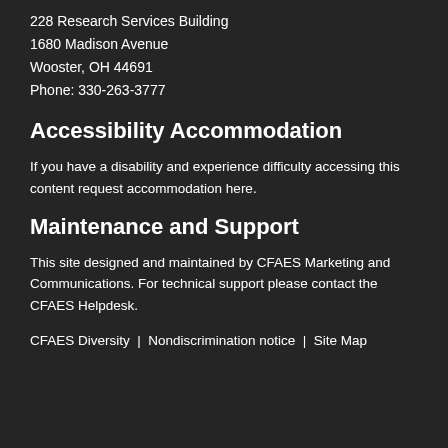228 Research Services Building
1680 Madison Avenue
Wooster, OH 44691
Phone: 330-263-3777
Accessibility Accommodation
If you have a disability and experience difficulty accessing this content request accommodation here.
Maintenance and Support
This site designed and maintained by CFAES Marketing and Communications. For technical support please contact the CFAES Helpdesk.
CFAES Diversity | Nondiscrimination notice | Site Map